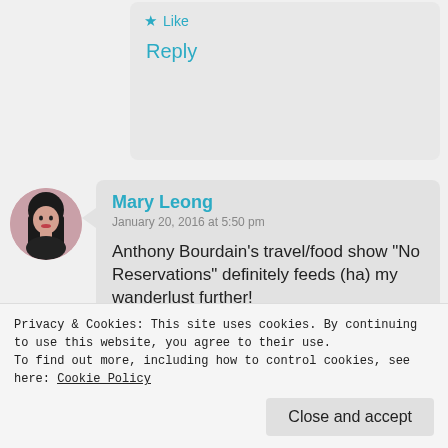Like
Reply
Mary Leong
January 20, 2016 at 5:50 pm
Anthony Bourdain’s travel/food show “No Reservations” definitely feeds (ha) my wanderlust further!
Like
Privacy & Cookies: This site uses cookies. By continuing to use this website, you agree to their use.
To find out more, including how to control cookies, see here: Cookie Policy
Close and accept